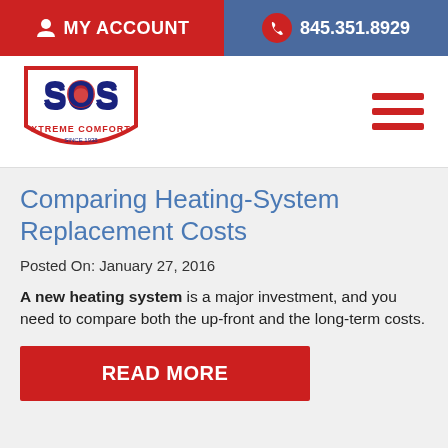MY ACCOUNT | 845.351.8929
[Figure (logo): SOS Xtreme Comfort logo with shield shape, red and navy blue]
Comparing Heating-System Replacement Costs
Posted On: January 27, 2016
A new heating system is a major investment, and you need to compare both the up-front and the long-term costs.
READ MORE